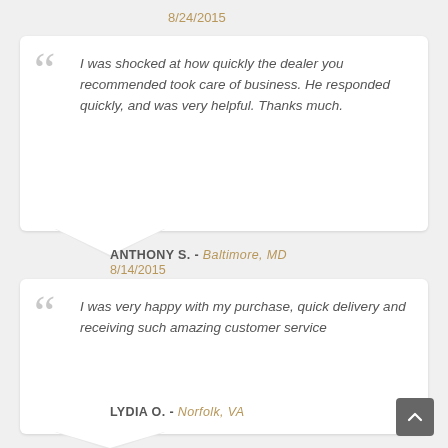8/24/2015
I was shocked at how quickly the dealer you recommended took care of business. He responded quickly, and was very helpful. Thanks much.
ANTHONY S. - Baltimore, MD
8/14/2015
I was very happy with my purchase, quick delivery and receiving such amazing customer service
LYDIA O. - Norfolk, VA